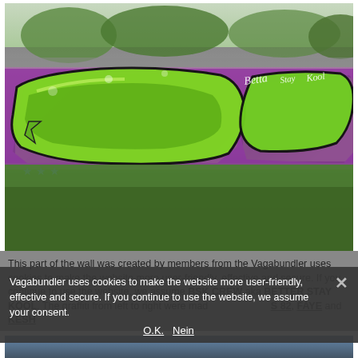[Figure (photo): A graffiti mural on a long grey concrete wall. The mural features large green wildstyle letters on a purple/magenta background with stars and decorative elements. Trees are visible above the wall. Green grass slopes down in front of the wall. The graffiti reads pieces by BSK CREW members including elements labeled S 82, FAYE, and KESH.]
This part of the wall was created by members from the BSK CREW aka BETTER STAY KOOL. The graffiti from left to right were made by S 82, FAYE and KESH
Vagabundler uses cookies to make the website more user-friendly, effective and secure. If you continue to use the website, we assume your consent.
O.K.   Nein
[Figure (photo): Bottom portion of a second photo, partially visible, appears to show a dark blue/grey toned urban scene.]